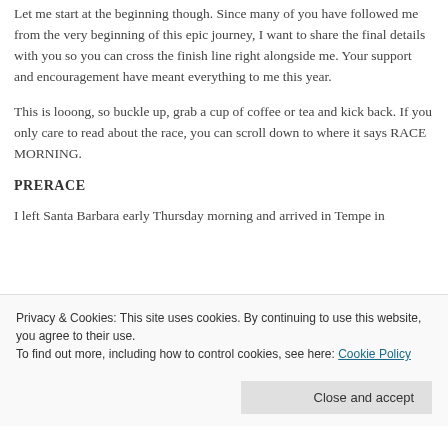Let me start at the beginning though. Since many of you have followed me from the very beginning of this epic journey, I want to share the final details with you so you can cross the finish line right alongside me. Your support and encouragement have meant everything to me this year.
This is looong, so buckle up, grab a cup of coffee or tea and kick back. If you only care to read about the race, you can scroll down to where it says RACE MORNING.
PRERACE
I left Santa Barbara early Thursday morning and arrived in Tempe in
Privacy & Cookies: This site uses cookies. By continuing to use this website, you agree to their use.
To find out more, including how to control cookies, see here: Cookie Policy